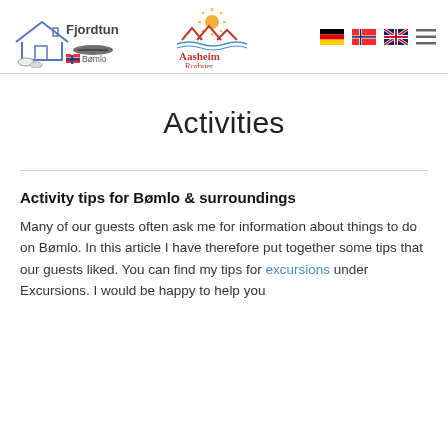[Figure (logo): Fjordtun Bømlo logo with house icon and boat, and Aasheim Rorbuer logo with sun/mountain illustration]
[Figure (other): German flag, Norwegian flag, British flag, and hamburger menu icon in header navigation]
Activities
Activity tips for Bømlo & surroundings
Many of our guests often ask me for information about things to do on Bømlo. In this article I have therefore put together some tips that our guests liked. You can find my tips for excursions under Excursions. I would be happy to help you